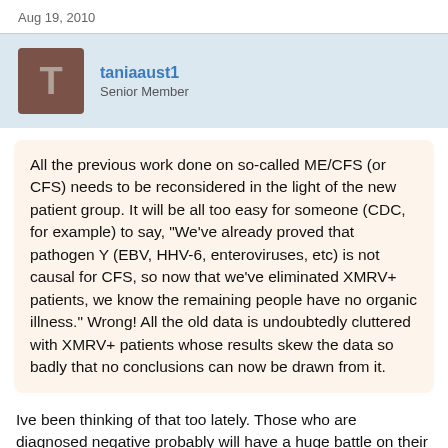Aug 19, 2010
taniaaust1
Senior Member
All the previous work done on so-called ME/CFS (or CFS) needs to be reconsidered in the light of the new patient group. It will be all too easy for someone (CDC, for example) to say, "We've already proved that pathogen Y (EBV, HHV-6, enteroviruses, etc) is not causal for CFS, so now that we've eliminated XMRV+ patients, we know the remaining people have no organic illness." Wrong! All the old data is undoubtedly cluttered with XMRV+ patients whose results skew the data so badly that no conclusions can now be drawn from it.
Ive been thinking of that too lately. Those who are diagnosed negative probably will have a huge battle on their hands but focus needs to be kept on the positives of things too, this